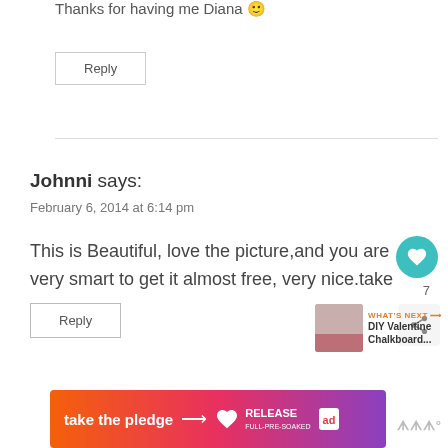Thanks for having me Diana 🙂
Reply
Johnni says:
February 6, 2014 at 6:14 pm
This is Beautiful, love the picture,and you are very smart to get it almost free, very nice.take care
Reply
[Figure (infographic): Take the pledge banner with gradient orange-to-purple background, Release logo and ad icon]
[Figure (infographic): What's Next section showing DIY Valentine Chalkboard... with thumbnail image]